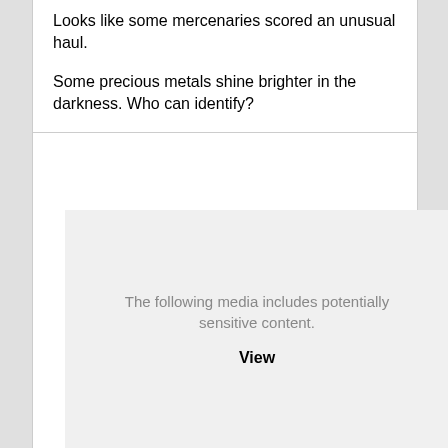Looks like some mercenaries scored an unusual haul.

Some precious metals shine brighter in the darkness. Who can identify?
[Figure (other): Sensitive media placeholder with message 'The following media includes potentially sensitive content.' and a 'View' link.]